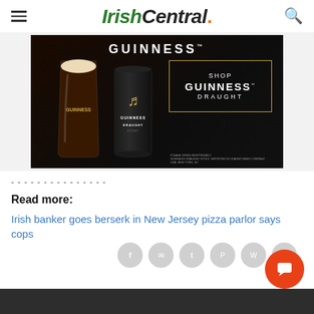IrishCentral.
[Figure (photo): Guinness Draught advertisement showing a pint glass and can of Guinness Draught Stout with 'Shop Guinness Draught' text in a bordered box on dark background]
---------------
Read more:
Irish banker goes berserk in New Jersey pizza parlor says cops